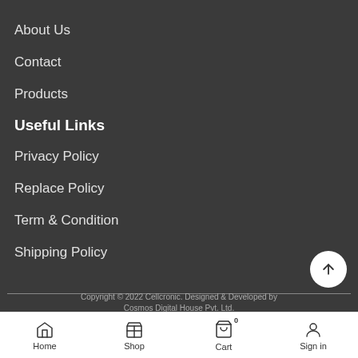About Us
Contact
Products
Useful Links
Privacy Policy
Replace Policy
Term & Condition
Shipping Policy
Copyright © 2022 Cellcronic. Designed & Developed by Cosmos Digital House Pvt. Ltd.
Home  Shop  Cart  Sign in